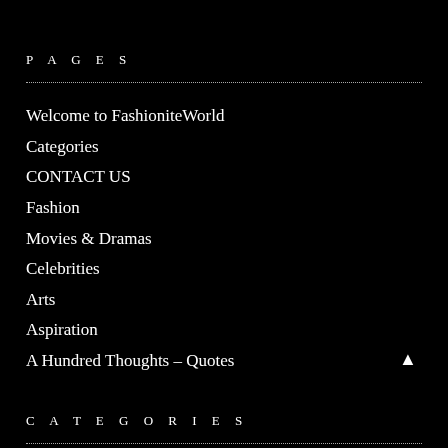PAGES
Welcome to FashioniteWorld
Categories
CONTACT US
Fashion
Movies & Dramas
Celebrities
Arts
Aspiration
A Hundred Thoughts – Quotes
CATEGORIES
Aspiring Celebs 2018 (1)
Best of Collections – Ecommerce (1)